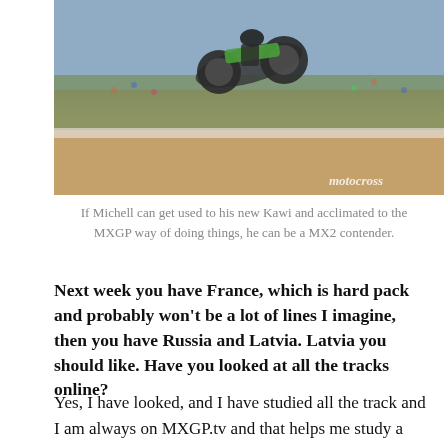[Figure (photo): Motocross rider on a Kawasaki dirt bike airborne over a jump at an MXGP event, with a large crowd visible in the background. A 'motocross' watermark appears in the bottom right.]
If Michell can get used to his new Kawi and acclimated to the MXGP way of doing things, he can be a MX2 contender.
Next week you have France, which is hard pack and probably won't be a lot of lines I imagine, then you have Russia and Latvia. Latvia you should like. Have you looked at all the tracks online?
Yes, I have looked, and I have studied all the track and I am always on MXGP.tv and that helps me study a little bit. I always have to watch video before a race.